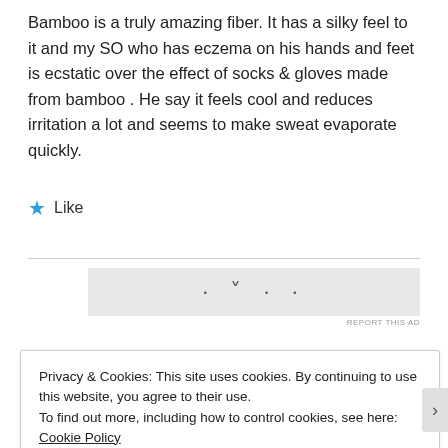Bamboo is a truly amazing fiber. It has a silky feel to it and my SO who has eczema on his hands and feet is ecstatic over the effect of socks & gloves made from bamboo . He say it feels cool and reduces irritation a lot and seems to make sweat evaporate quickly.
★ Like
[Figure (other): Horizontal advertisement banner with placeholder dots]
REPORT THIS AD
Privacy & Cookies: This site uses cookies. By continuing to use this website, you agree to their use.
To find out more, including how to control cookies, see here: Cookie Policy
Close and accept